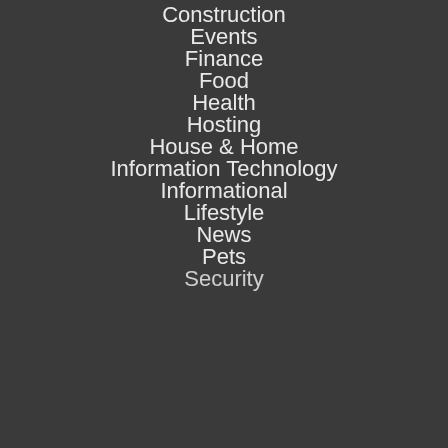Construction
Events
Finance
Food
Health
Hosting
House & Home
Information Technology
Informational
Lifestyle
News
Pets
Security